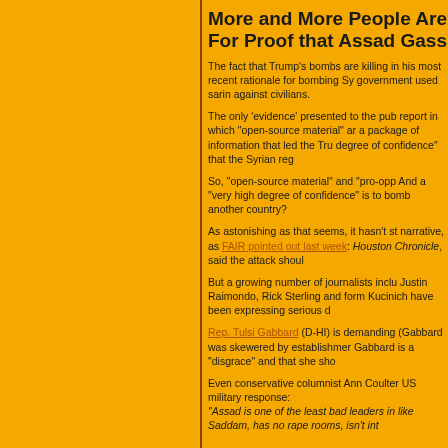More and More People Are Asking For Proof that Assad Gassed...
The fact that Trump's bombs are killing in his most recent rationale for bombing Sy... government used sarin against civilians.
The only 'evidence' presented to the pub... report in which "open-source material" a... a package of information that led the Tru... degree of confidence" that the Syrian reg...
So, "open-source material" and "pro-opp... And a "very high degree of confidence" is... to bomb another country?
As astonishing as that seems, it hasn't st... narrative, as FAIR pointed out last week:... Houston Chronicle, said the attack shoul...
But a growing number of journalists inclu... Justin Raimondo, Rick Sterling and form... Kucinich have been expressing serious d...
Rep. Tulsi Gabbard (D-HI) is demanding... (Gabbard was skewered by establishmen... Gabbard is a "disgrace" and that she sho...
Even conservative columnist Ann Coulte... US military response: "Assad is one of the least bad leaders in... like Saddam, has no rape rooms, isn't it...